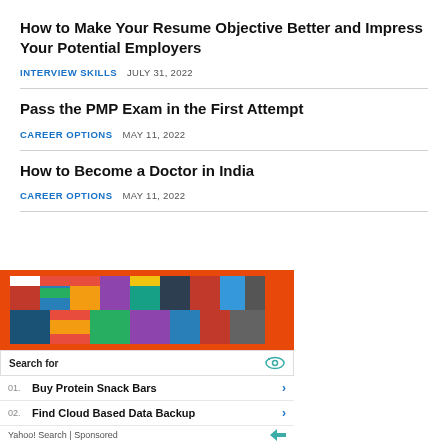How to Make Your Resume Objective Better and Impress Your Potential Employers
INTERVIEW SKILLS   JULY 31, 2022
Pass the PMP Exam in the First Attempt
CAREER OPTIONS   MAY 11, 2022
How to Become a Doctor in India
CAREER OPTIONS   MAY 11, 2022
[Figure (infographic): Advertisement block with flags image and Yahoo Search sponsored content showing 'Buy Protein Snack Bars' and 'Find Cloud Based Data Backup']